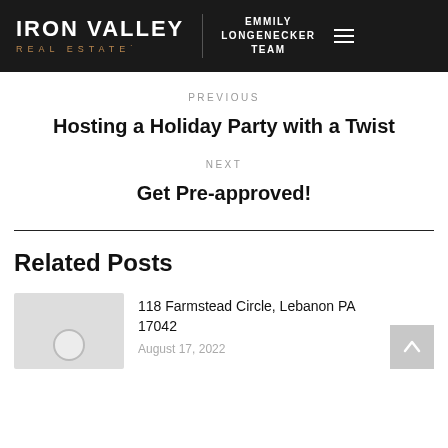IRON VALLEY REAL ESTATE | EMMILY LONGENECKER TEAM
PREVIOUS
Hosting a Holiday Party with a Twist
NEXT
Get Pre-approved!
Related Posts
[Figure (photo): Thumbnail placeholder image with a circle icon]
118 Farmstead Circle, Lebanon PA 17042
August 17, 2022